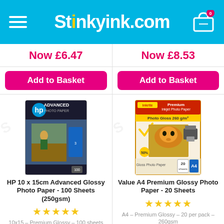Stinkyink.com
Now £6.47
Now £8.53
Add to Basket
Add to Basket
[Figure (photo): HP Advanced Photo Paper product box showing HP branding with a photo of children and scenic imagery.]
[Figure (photo): Inkrite Premium Inkjet Photo Paper Photo Gloss 260 gsm product box showing a tiger photo, camera, and 20 A4 sheets label.]
HP 10 x 15cm Advanced Glossy Photo Paper - 100 Sheets (250gsm)
Value A4 Premium Glossy Photo Paper - 20 Sheets
10x15 – Premium Glossy – 100 sheets per pack – 250gsm
A4 – Premium Glossy – 20 per pack – 260gsm